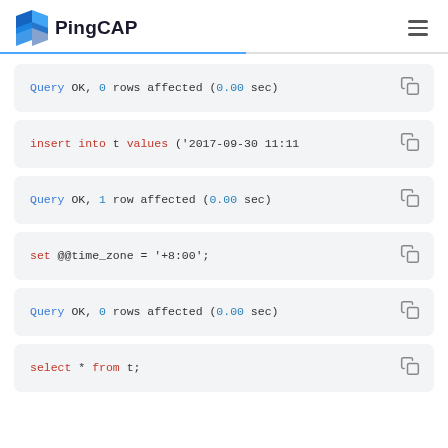PingCAP
Query OK, 0 rows affected (0.00 sec)
insert into t values ('2017-09-30 11:11
Query OK, 1 row affected (0.00 sec)
set @@time_zone = '+8:00';
Query OK, 0 rows affected (0.00 sec)
select * from t;